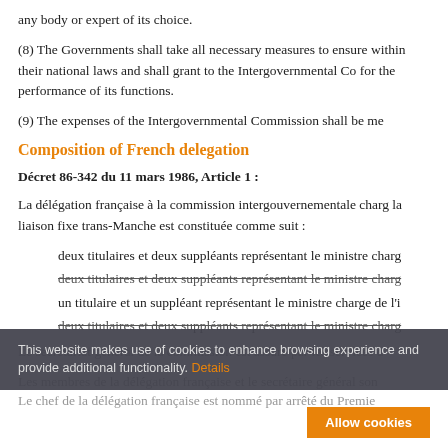any body or expert of its choice.
(8) The Governments shall take all necessary measures to ensure within their national laws and shall grant to the Intergovernmental Co for the performance of its functions.
(9) The expenses of the Intergovernmental Commission shall be me
Composition of French delegation
Décret 86-342 du 11 mars 1986, Article 1 :
La délégation française à la commission intergouvernementale charg la liaison fixe trans-Manche est constituée comme suit :
deux titulaires et deux suppléants représentant le ministre charg
deux titulaires et deux suppléants représentant le ministre charg
un titulaire et un suppléant représentant le ministre charge de l'i
deux titulaires et deux suppléants représentant le ministre charg
Le secrétariat général de la commission est assuré par les services d
Les membres de la délégation française et le secrétaire général son Le chef de la délégation française est nommé par arrêté du Premie